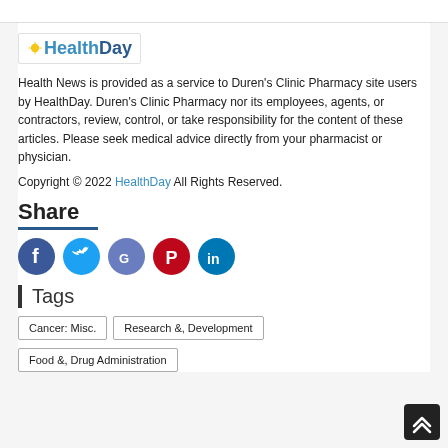[Figure (logo): HealthDay logo with sun graphic]
Health News is provided as a service to Duren's Clinic Pharmacy site users by HealthDay. Duren's Clinic Pharmacy nor its employees, agents, or contractors, review, control, or take responsibility for the content of these articles. Please seek medical advice directly from your pharmacist or physician.
Copyright © 2022 HealthDay All Rights Reserved.
Share
[Figure (other): Social media share icons: Facebook, Twitter, Google, Pinterest, LinkedIn]
Tags
Cancer: Misc.
Research &, Development
Food &, Drug Administration